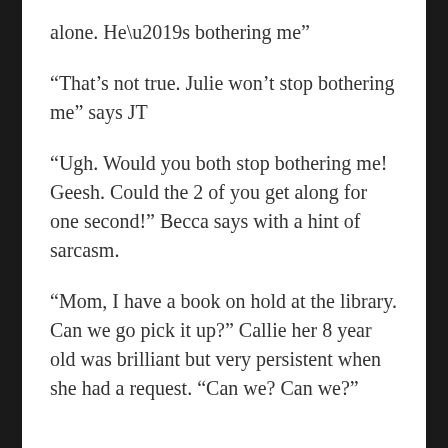alone.  He’s bothering me”
“That’s not true.  Julie won’t stop bothering me” says JT
“Ugh.  Would you both stop bothering me!  Geesh.  Could the 2 of you get along for one second!”  Becca says with a hint of sarcasm.
“Mom, I have a book on hold at the library.  Can we go pick it up?” Callie her 8 year old was brilliant but very persistent when she had a request.  “Can we?  Can we?”